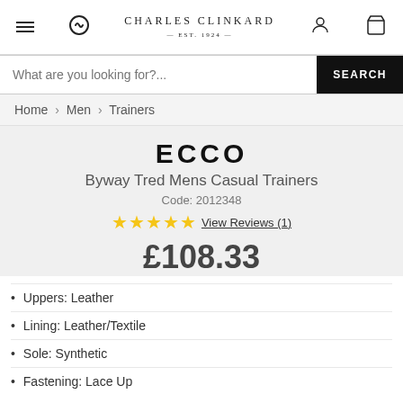CHARLES CLINKARD EST. 1924
What are you looking for?...  SEARCH
Home › Men › Trainers
ECCO
Byway Tred Mens Casual Trainers
Code: 2012348
★★★★★ View Reviews (1)
£108.33
Uppers: Leather
Lining: Leather/Textile
Sole: Synthetic
Fastening: Lace Up